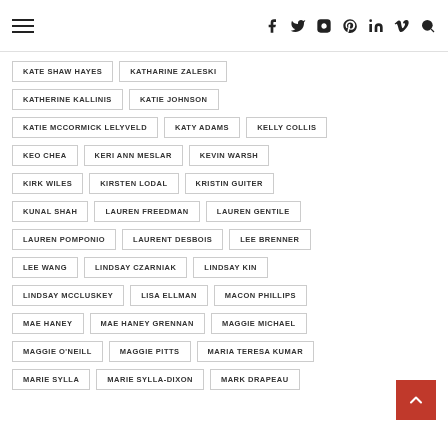Navigation header with hamburger menu and social icons
KATE SHAW HAYES
KATHARINE ZALESKI
KATHERINE KALLINIS
KATIE JOHNSON
KATIE MCCORMICK LELYVELD
KATY ADAMS
KELLY COLLIS
KEO CHEA
KERI ANN MESLAR
KEVIN WARSH
KIRK WILES
KIRSTEN LODAL
KRISTIN GUITER
KUNAL SHAH
LAUREN FREEDMAN
LAUREN GENTILE
LAUREN POMPONIO
LAURENT DESBOIS
LEE BRENNER
LEE WANG
LINDSAY CZARNIAK
LINDSAY KIN
LINDSAY MCCLUSKEY
LISA ELLMAN
MACON PHILLIPS
MAE HANEY
MAE HANEY GRENNAN
MAGGIE MICHAEL
MAGGIE O'NEILL
MAGGIE PITTS
MARIA TERESA KUMAR
MARIE SYLLA
MARIE SYLLA-DIXON
MARK DRAPEAU